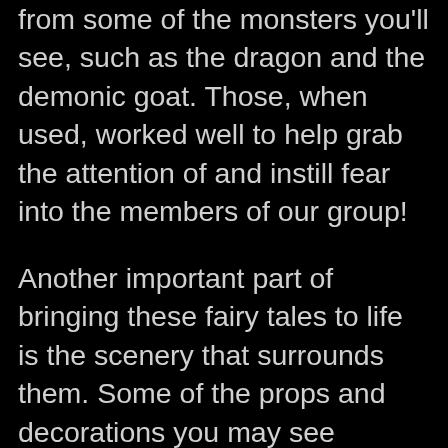from some of the monsters you'll see, such as the dragon and the demonic goat. Those, when used, worked well to help grab the attention of and instill fear into the members of our group!
Another important part of bringing these fairy tales to life is the scenery that surrounds them. Some of the props and decorations you may see include an antique, horse-drawn hearse, bamboo thickets, impaling spikes, a life-sized, 'live' dragon, a ghostly door, a conniving corpse, a striking snake, carved-out pumpkins, a rope bridge, burning witches, a waterfall, several large and new